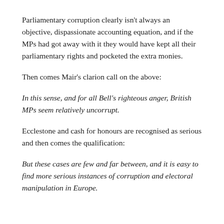Parliamentary corruption clearly isn't always an objective, dispassionate accounting equation, and if the MPs had got away with it they would have kept all their parliamentary rights and pocketed the extra monies.
Then comes Mair's clarion call on the above:
In this sense, and for all Bell's righteous anger, British MPs seem relatively uncorrupt.
Ecclestone and cash for honours are recognised as serious and then comes the qualification:
But these cases are few and far between, and it is easy to find more serious instances of corruption and electoral manipulation in Europe.